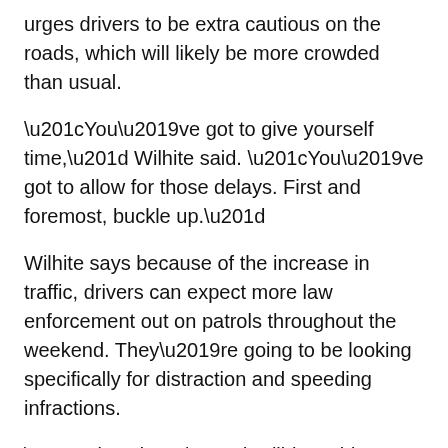urges drivers to be extra cautious on the roads, which will likely be more crowded than usual.
“You’ve got to give yourself time,” Wilhite said. “You’ve got to allow for those delays. First and foremost, buckle up.”
Wilhite says because of the increase in traffic, drivers can expect more law enforcement out on patrols throughout the weekend. They’re going to be looking specifically for distraction and speeding infractions.
“Slow down,” Wilhite said. “Take your time. And then distractions. Cell phone, we all know the problems with that. Just put it down while you’re on the roadway.”
Wilhite says Beckley has already seen an boost in traffic so far this week. He knows it’s crucial for law enforcement to do everything possible to keep drivers safe with the roads